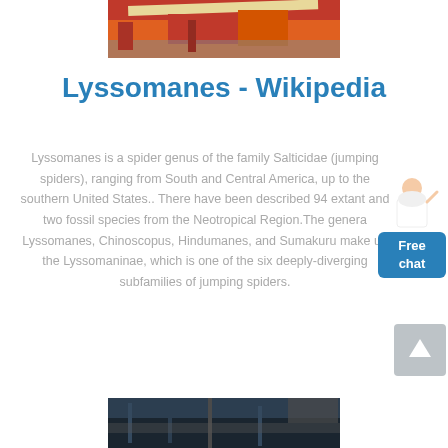[Figure (photo): Partial view of industrial crane or construction equipment, orange and red colored machinery against sky]
Lyssomanes - Wikipedia
Lyssomanes is a spider genus of the family Salticidae (jumping spiders), ranging from South and Central America, up to the southern United States.. There have been described 94 extant and two fossil species from the Neotropical Region.The genera Lyssomanes, Chinoscopus, Hindumanes, and Sumakuru make up the Lyssomaninae, which is one of the six deeply-diverging subfamilies of jumping spiders.
[Figure (photo): Free chat widget with person illustration and blue button labeled 'Free chat']
[Figure (screenshot): Scroll-to-top button, grey square with upward arrow]
[Figure (photo): Partial view of dark industrial building interior or structure at bottom of page]